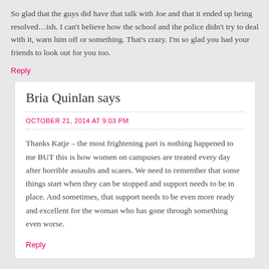So glad that the guys did have that talk with Joe and that it ended up being resolved…ish. I can't believe how the school and the police didn't try to deal with it, warn him off or something. That's crazy. I'm so glad you had your friends to look out for you too.
Reply
Bria Quinlan says
OCTOBER 21, 2014 AT 9:03 PM
Thanks Katje – the most frightening part is nothing happened to me BUT this is how women on campuses are treated every day after horrible assaults and scares. We need to remember that some things start when they can be stopped and support needs to be in place. And sometimes, that support needs to be even more ready and excellent for the woman who has gone through something even worse.
Reply